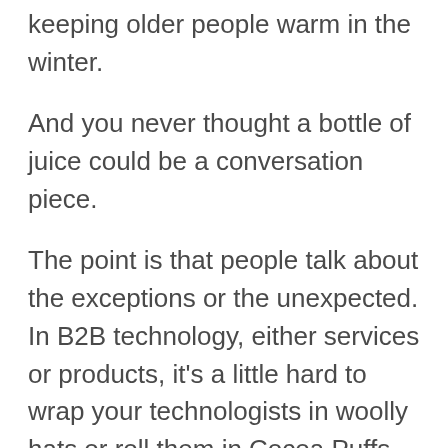keeping older people warm in the winter.
And you never thought a bottle of juice could be a conversation piece.
The point is that people talk about the exceptions or the unexpected. In B2B technology, either services or products, it's a little hard to wrap your technologists in woolly hats or roll them in Cocoa Puffs. So we asked the expert, Lois Kelly, for her opinion on how to give your sales team more tools to create conversations. So for some tips, check out our podcast …